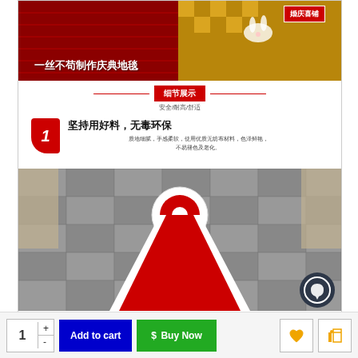[Figure (photo): Chinese e-commerce product listing for red wedding/ceremony carpet. Top section shows red carpet on stairs with text '婚庆喜铺' (Wedding Shop) and '一丝不苟制作庆典地毯' (Meticulously crafted ceremony carpet). Below is a detail section '细节展示' (Detail Display) with subtitle '安全/耐高/舒适' and feature point 1 '坚持用好料，无毒环保' (Insist on good materials, non-toxic and eco-friendly) with description text. Lower portion shows a rolled red carpet unrolled on a stone-paved outdoor plaza. WhatsApp contact icon visible in bottom right corner of product image.]
1  Add to cart  $ Buy Now